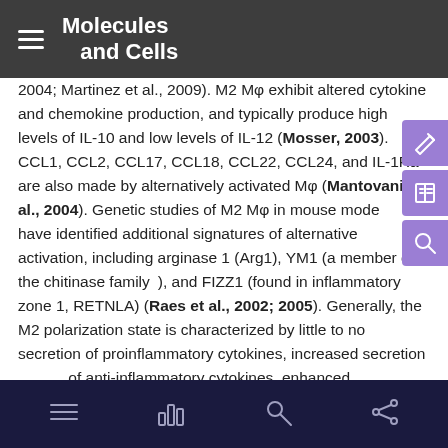Molecules and Cells
2004; Martinez et al., 2009). M2 Mφ exhibit altered cytokine and chemokine production, and typically produce high levels of IL-10 and low levels of IL-12 (Mosser, 2003). CCL1, CCL2, CCL17, CCL18, CCL22, CCL24, and IL-1Ra are also made by alternatively activated Mφ (Mantovani et al., 2004). Genetic studies of M2 Mφ in mouse models have identified additional signatures of alternative activation, including arginase 1 (Arg1), YM1 (a member of the chitinase family), and FIZZ1 (found in inflammatory zone 1, RETNLA) (Raes et al., 2002; 2005). Generally, the M2 polarization state is characterized by little to no secretion of proinflammatory cytokines, increased secretion of anti-inflammatory cytokines, enhanced scavenging of cellular debris, promotion of tissue remodeling and repair, and, in some cases, increased capacity to fight parasitic infections (Alfano et al., 2013). Additionally, the concept of resolution of inflammation has evolved and is no longer perceived as a passive process that simply occurs when the insult disappears, but rather as a highly
navigation bar